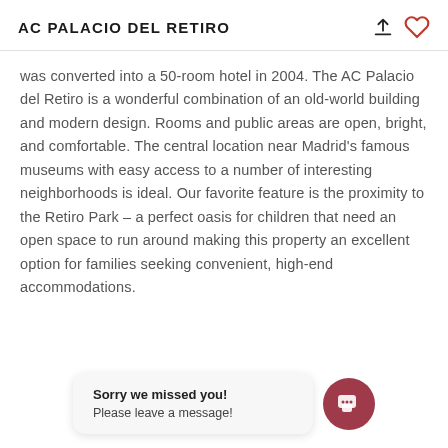AC PALACIO DEL RETIRO
was converted into a 50-room hotel in 2004. The AC Palacio del Retiro is a wonderful combination of an old-world building and modern design. Rooms and public areas are open, bright, and comfortable. The central location near Madrid's famous museums with easy access to a number of interesting neighborhoods is ideal. Our favorite feature is the proximity to the Retiro Park – a perfect oasis for children that need an open space to run around making this property an excellent option for families seeking convenient, high-end accommodations.
Sorry we missed you! Please leave a message!